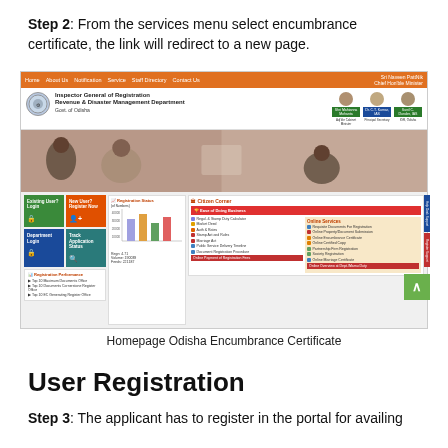Step 2: From the services menu select encumbrance certificate, the link will redirect to a new page.
[Figure (screenshot): Homepage of Odisha Encumbrance Certificate website showing Inspector General of Registration, Revenue & Disaster Management Department portal with navigation menu, banner image, login buttons, registration status chart, and citizen corner services.]
Homepage Odisha Encumbrance Certificate
User Registration
Step 3: The applicant has to register in the portal for availing